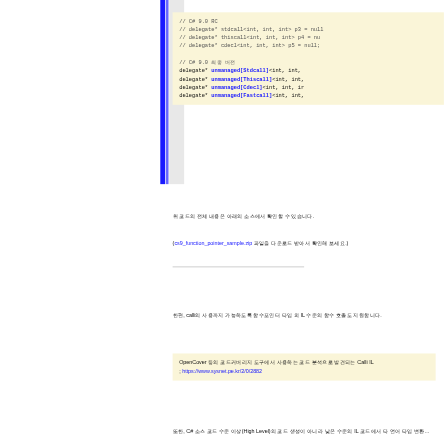[Figure (screenshot): Code box showing C# 9.0 RC commented delegate* syntax and C# 9.0 final syntax with unmanaged[Stdcall], unmanaged[Thiscall], unmanaged[Cdecl], unmanaged[Fastcall] keywords]
위 코드의 전체 내용은 아래의 소스에서 확인할 수 있습니다.
(cs9_function_pointer_sample.zip 파일을 다운로드 받아서 확인해...
한편, calli의 사용까지 가능하도록 함수포인터 타입 외 IL 수준의 함수 호출도 지원합니다.
[Figure (screenshot): Note box: OpenCover 등의 코드커버리지 도구에서 사용하는 코드 분석으로 Calli IL ...; https://www.sysnet.pe.kr/2/0/2882]
또한, C# 소스 코드 수준 이상(High Level)의 코드 생성이 아니라 낮은 수준의 IL 코드에서 타 언어 타입 변환...